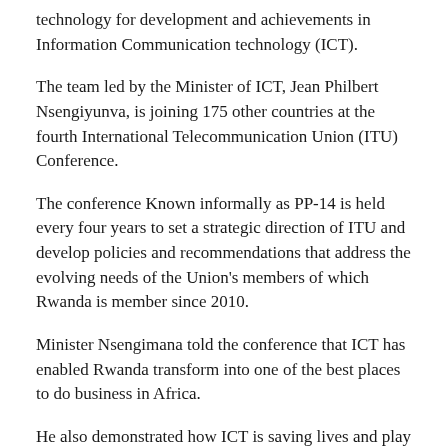technology for development and achievements in Information Communication technology (ICT).
The team led by the Minister of ICT, Jean Philbert Nsengiyunva, is joining 175 other countries at the fourth International Telecommunication Union (ITU) Conference.
The conference Known informally as PP-14 is held every four years to set a strategic direction of ITU and develop policies and recommendations that address the evolving needs of the Union's members of which Rwanda is member since 2010.
Minister Nsengimana told the conference that ICT has enabled Rwanda transform into one of the best places to do business in Africa.
He also demonstrated how ICT is saving lives and play a major role in the country's efforts to to fight poverty.
President Paul Kagame, who is also the co-chair of the United